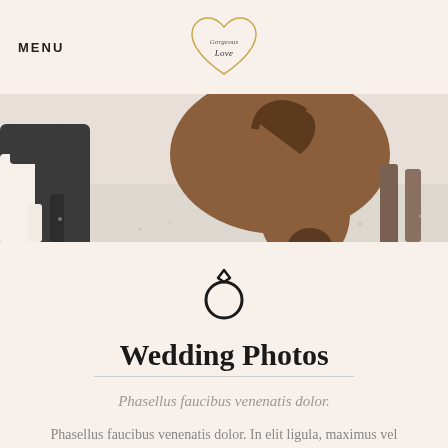MENU
[Figure (logo): Heart-shaped gold outline logo with cursive text 'Gorgeous Love']
[Figure (photo): Wide banner photo of horses in snowy winter field, close-up of brown horse's head]
[Figure (illustration): Ring icon — circle with small diamond/gem shape on top]
Wedding Photos
Phasellus faucibus venenatis dolor.
Phasellus faucibus venenatis dolor. In elit ligula, maximus vel tincidunt ut, rhoncus et turpis Phasellus